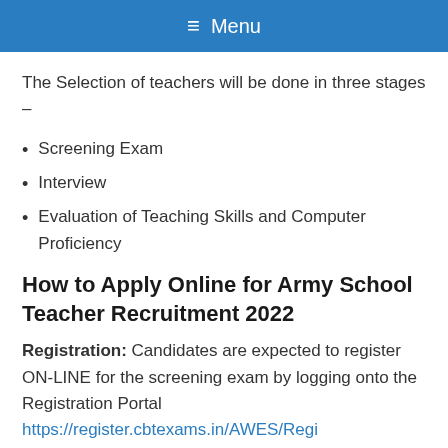Menu
The Selection of teachers will be done in three stages –
Screening Exam
Interview
Evaluation of Teaching Skills and Computer Proficiency
How to Apply Online for Army School Teacher Recruitment 2022
Registration: Candidates are expected to register ON-LINE for the screening exam by logging onto the Registration Portal https://register.cbtexams.in/AWES/Regi